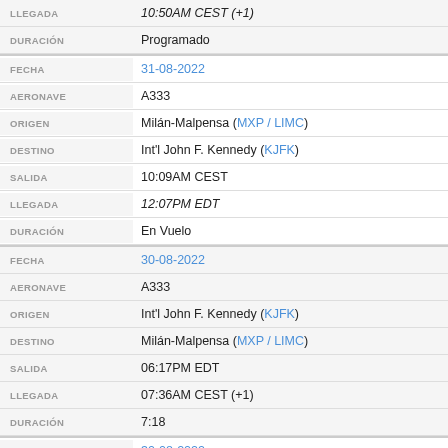| Label | Value |
| --- | --- |
| LLEGADA | 10:50AM CEST (+1) |
| DURACIÓN | Programado |
| FECHA | 31-08-2022 |
| AERONAVE | A333 |
| ORIGEN | Milán-Malpensa (MXP / LIMC) |
| DESTINO | Int'l John F. Kennedy (KJFK) |
| SALIDA | 10:09AM CEST |
| LLEGADA | 12:07PM EDT |
| DURACIÓN | En Vuelo |
| FECHA | 30-08-2022 |
| AERONAVE | A333 |
| ORIGEN | Int'l John F. Kennedy (KJFK) |
| DESTINO | Milán-Malpensa (MXP / LIMC) |
| SALIDA | 06:17PM EDT |
| LLEGADA | 07:36AM CEST (+1) |
| DURACIÓN | 7:18 |
| FECHA | 30-08-2022 |
| AERONAVE | A333 |
| ORIGEN | Int'l Niza Costa Azul (NCE / LFMN) |
| DESTINO | Int'l John F. Kennedy (KJFK) |